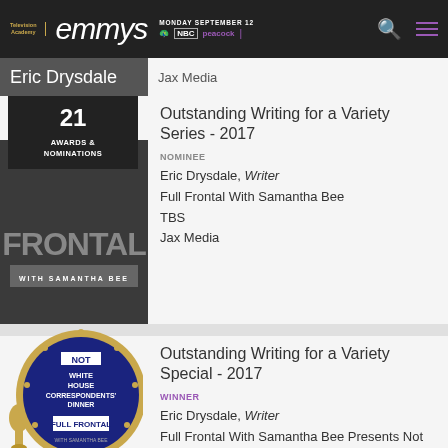Television Academy | emmys | MONDAY SEPTEMBER 12 | NBC | peacock
Eric Drysdale
21 AWARDS & NOMINATIONS
Outstanding Writing for a Variety Series - 2017
NOMINEE
Eric Drysdale, Writer
Full Frontal With Samantha Bee
TBS
Jax Media
Outstanding Writing for a Variety Special - 2017
WINNER
Eric Drysdale, Writer
Full Frontal With Samantha Bee Presents Not The White House Correspondents' Dinner
TBS
Jax Media